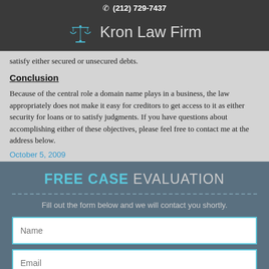(212) 729-7437
Kron Law Firm
satisfy either secured or unsecured debts.
Conclusion
Because of the central role a domain name plays in a business, the law appropriately does not make it easy for creditors to get access to it as either security for loans or to satisfy judgments. If you have questions about accomplishing either of these objectives, please feel free to contact me at the address below.
October 5, 2009
FREE CASE EVALUATION
Fill out the form below and we will contact you shortly.
Name
Email